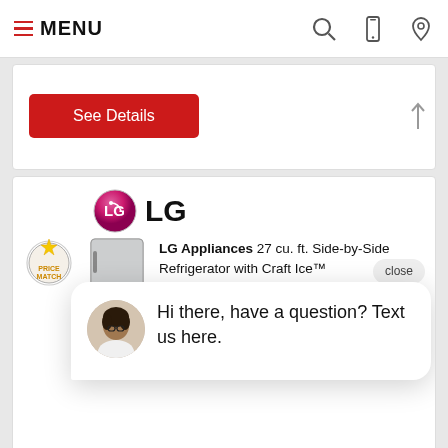MENU
[Figure (screenshot): See Details red button inside a white card]
[Figure (screenshot): LG Appliances product listing card showing LG logo, refrigerator image, product title '27 cu. ft. Side-by-Side Refrigerator with Craft Ice™', close button, chat popup with 'Hi there, have a question? Text us here.', and availability info 'Order: Call for availability' and 'Available']